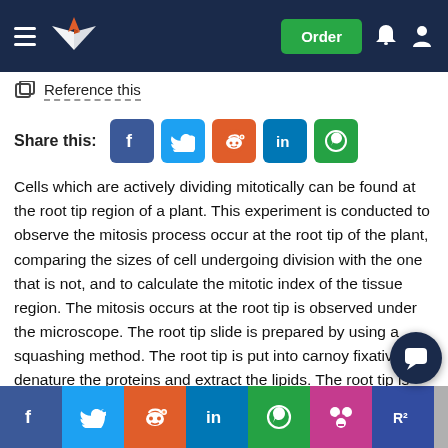Reference this | Order [navigation bar]
Share this: [social icons: Facebook, Twitter, Reddit, LinkedIn, WhatsApp]
Cells which are actively dividing mitotically can be found at the root tip region of a plant. This experiment is conducted to observe the mitosis process occur at the root tip of the plant, comparing the sizes of cell undergoing division with the one that is not, and to calculate the mitotic index of the tissue region. The mitosis occurs at the root tip is observed under the microscope. The root tip slide is prepared by using a squashing method. The root tip is put into carnoy fixative to denature the proteins and extract the lipids. The root tip is then put into hydrochloric acid to partially break down the cell and their components. After that, the root tip is stained [with dye] to [show the chromosomes and] the [chromosomes can then be clearly seen under the microscope].